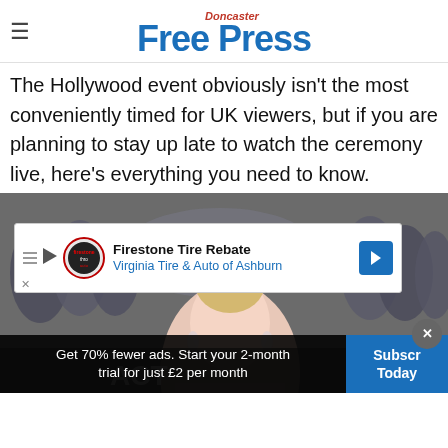Doncaster Free Press
The Hollywood event obviously isn't the most conveniently timed for UK viewers, but if you are planning to stay up late to watch the ceremony live, here's everything you need to know.
[Figure (photo): A young blonde woman at what appears to be a red carpet event, surrounded by a crowd of people in the background.]
Firestone Tire Rebate Virginia Tire & Auto of Ashburn
Get 70% fewer ads. Start your 2-month trial for just £2 per month
Subscribe Today